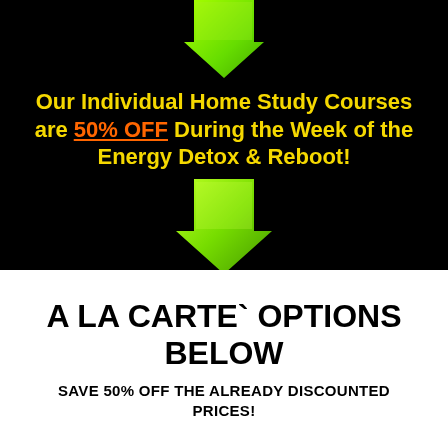[Figure (illustration): Green downward arrow at the top of the black section]
Our Individual Home Study Courses are 50% OFF During the Week of the Energy Detox & Reboot!
[Figure (illustration): Green downward arrow below the promotional text]
A LA CARTE` OPTIONS BELOW
SAVE 50% OFF THE ALREADY DISCOUNTED PRICES!